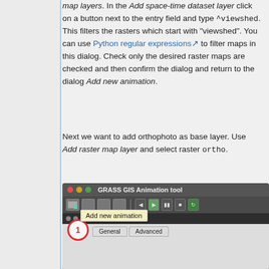map layers. In the Add space-time dataset layer click on a button next to the entry field and type ^viewshed. This filters the rasters which start with "viewshed". You can use Python regular expressions to filter maps in this dialog. Check only the desired raster maps are checked and then confirm the dialog and return to the dialog Add new animation.
Next we want to add orthophoto as base layer. Use Add raster map layer and select raster ortho.
[Figure (screenshot): GRASS GIS Animation tool window showing toolbar with 'Add new animation' tooltip visible, and a panel below showing 'Add new animation' dialog with General and Advanced tabs. A red circled number 1 highlights the add animation button.]